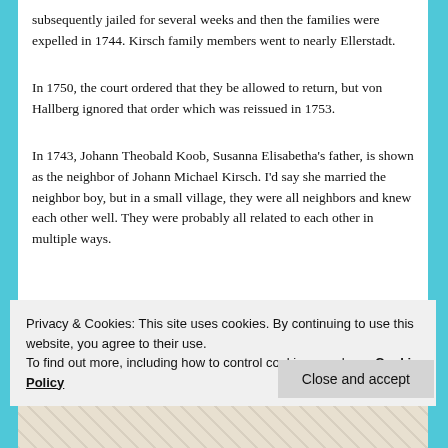subsequently jailed for several weeks and then the families were expelled in 1744. Kirsch family members went to nearly Ellerstadt.
In 1750, the court ordered that they be allowed to return, but von Hallberg ignored that order which was reissued in 1753.
In 1743, Johann Theobald Koob, Susanna Elisabetha's father, is shown as the neighbor of Johann Michael Kirsch. I'd say she married the neighbor boy, but in a small village, they were all neighbors and knew each other well. They were probably all related to each other in multiple ways.
Privacy & Cookies: This site uses cookies. By continuing to use this website, you agree to their use.
To find out more, including how to control cookies, see here: Cookie Policy
[Figure (photo): Partial view of a historical document or image at the bottom of the page]